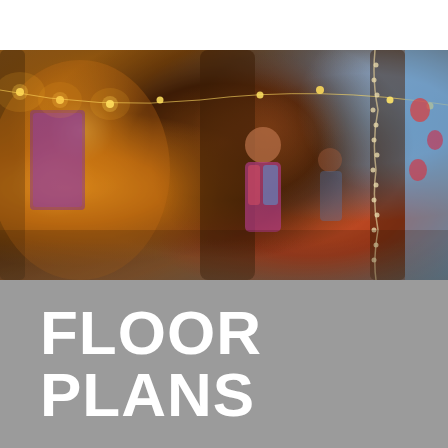[Figure (photo): Interior photo of a whimsical, warmly lit space resembling a treehouse or themed venue. A child stands in the center surrounded by wooden pillars, string lights, glowing bulbs, colorful decorations including a blue wall with painted strawberries/hearts on the right, and festive garlands.]
FLOOR PLANS